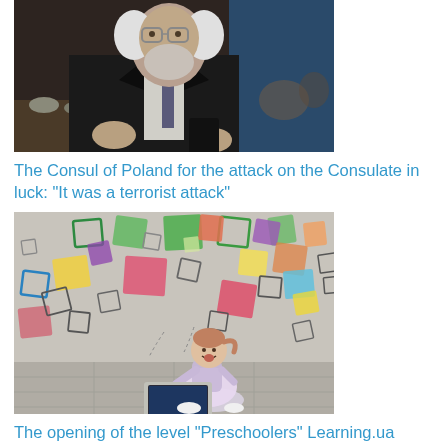[Figure (photo): Elderly man in suit and glasses gesturing with hands, seated at a table]
The Consul of Poland for the attack on the Consulate in luck: “It was a terrorist attack”
[Figure (photo): Young girl sitting on floor with laptop, surrounded by colorful drawn squares floating above]
The opening of the level “Preschoolers” Learning.ua